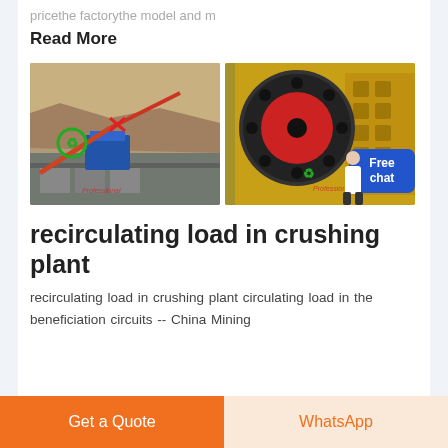pricethe factorythe model and m
Read More
[Figure (photo): Two photos side by side: left shows an outdoor mining/quarry crushing plant with machinery and conveyors; right shows a close-up of a red and black crusher machine (jaw crusher) in yellow color with a blue Free chat badge overlay and a person figure]
recirculating load in crushing plant
recirculating load in crushing plant circulating load in the beneficiation circuits -- China Mining
Get a Quote
WhatsApp